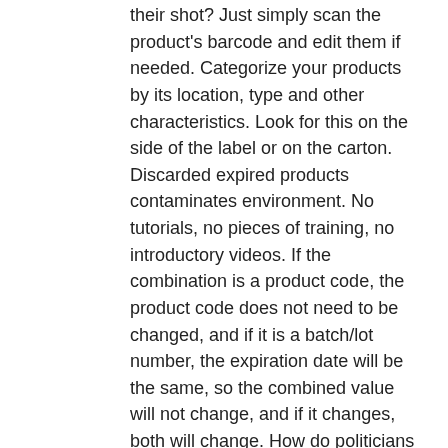their shot? Just simply scan the product's barcode and edit them if needed. Categorize your products by its location, type and other characteristics. Look for this on the side of the label or on the carton. Discarded expired products contaminates environment. No tutorials, no pieces of training, no introductory videos. If the combination is a product code, the product code does not need to be changed, and if it is a batch/lot number, the expiration date will be the same, so the combined value will not change, and if it changes, both will change. How do politicians scrutinize bills that are thousands of pages long? !", "Perfect tool to keep track of expiration dates in my department.". GS1 AI (Application Identifier) & Element String Specification Reference, How to: Sell an Item with Automatic Discount Triggered by Expiration/Best Before Date, Podcast Episode 299: Itâs hard to get hacked worse than this, Using ZXing natively to get information of product using barcode number, how can i get product information from barcode scanner device, Extracting information from a scanned GS1-type barcode. Why does the Indian PSLV rocket have tiny boosters?